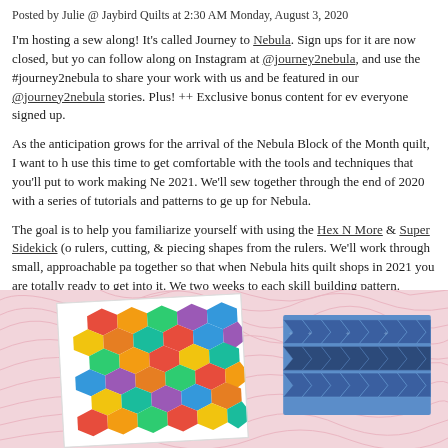Posted by Julie @ Jaybird Quilts at 2:30 AM Monday, August 3, 2020
I'm hosting a sew along! It's called Journey to Nebula. Sign ups for it are now closed, but you can follow along on Instagram at @journey2nebula, and use the #journey2nebula to share your work with us and be featured in our @journey2nebula stories. Plus! ++ Exclusive bonus content for everyone signed up.
As the anticipation grows for the arrival of the Nebula Block of the Month quilt, I want to help use this time to get comfortable with the tools and techniques that you'll put to work making Nebula in 2021. We'll sew together through the end of 2020 with a series of tutorials and patterns to get warmed up for Nebula.
The goal is to help you familiarize yourself with using the Hex N More & Super Sidekick (our rulers, cutting, & piecing shapes from the rulers. We'll work through small, approachable patterns together so that when Nebula hits quilt shops in 2021 you are totally ready to get into it. We'll devote two weeks to each skill building pattern.
[Figure (photo): Two quilt images on a pink topo-map patterned background. Left: a colorful hexagon quilt with multi-colored hexagons. Right: a blue chevron/arrow quilt pattern on blue fabric.]